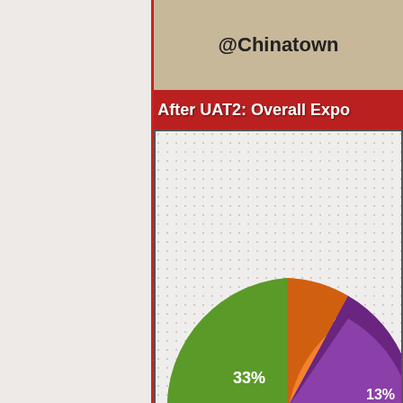@Chinatown
After UAT2: Overall Expe
[Figure (pie-chart): UAT 1]
User Acceptance Test 1